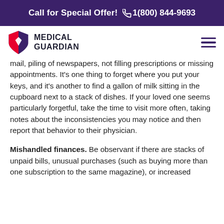Call for Special Offer! 1(800) 844-9693
[Figure (logo): Medical Guardian shield logo with red and dark shield icon and text MEDICAL GUARDIAN]
mail, piling of newspapers, not filling prescriptions or missing appointments. It's one thing to forget where you put your keys, and it's another to find a gallon of milk sitting in the cupboard next to a stack of dishes. If your loved one seems particularly forgetful, take the time to visit more often, taking notes about the inconsistencies you may notice and then report that behavior to their physician.
Mishandled finances. Be observant if there are stacks of unpaid bills, unusual purchases (such as buying more than one subscription to the same magazine), or increased